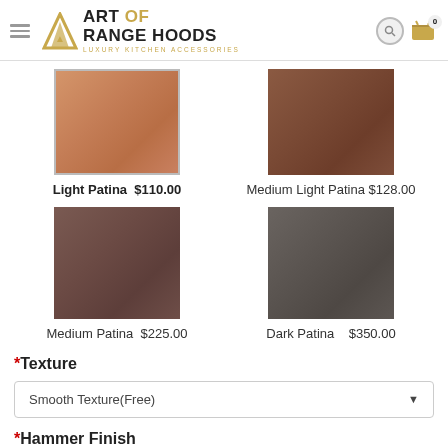Art of Range Hoods — Luxury Kitchen Accessories
[Figure (photo): Light Patina copper finish swatch — warm pinkish-copper color]
Light Patina  $110.00
[Figure (photo): Medium Light Patina copper finish swatch — darker reddish-brown copper color]
Medium Light Patina  $128.00
[Figure (photo): Medium Patina copper finish swatch — brownish-mauve color]
Medium Patina  $225.00
[Figure (photo): Dark Patina copper finish swatch — dark grayish-brown color]
Dark Patina  $350.00
* Texture
Smooth Texture(Free)
* Hammer Finish